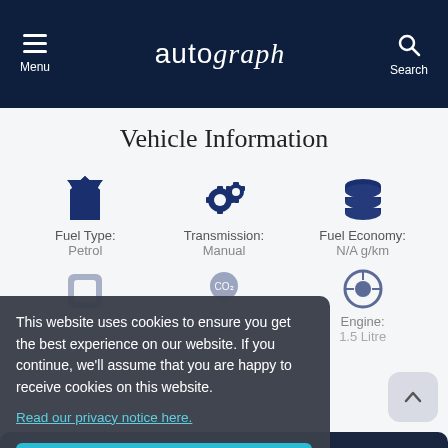Menu | autograph | Search
Vehicle Information
Fuel Type: Petrol | Transmission: Manual | Fuel Economy: N/A g/km
Co2: | Engine: 1.5 Litre
This website uses cookies to ensure you get the best experience on our website. If you continue, we'll assume that you are happy to receive cookies on this website. Read our privacy notice here.
Accept